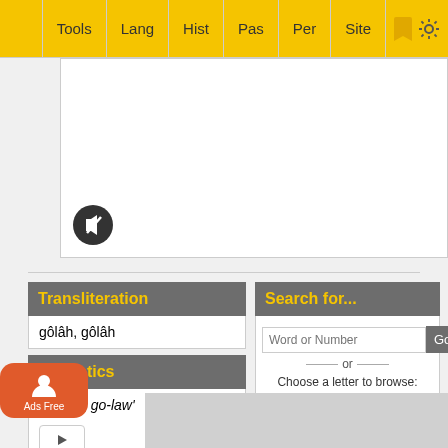Tools | Lang | Hist | Pas | Per | Site
[Figure (screenshot): White media/audio area with mute button (speaker icon with slash) in bottom left]
Transliteration
gôlâh, gôlâh
Phonetics
go-law', go-law'
[Figure (other): Play button (triangle inside rounded rectangle)]
Search for...
Word or Number
or
Choose a letter to browse:
א ב ג ד ה ו ז ח
ט י כ ל מ נ ס ע
פ מ צ ר ש ת
Origin
activ
Ads Free